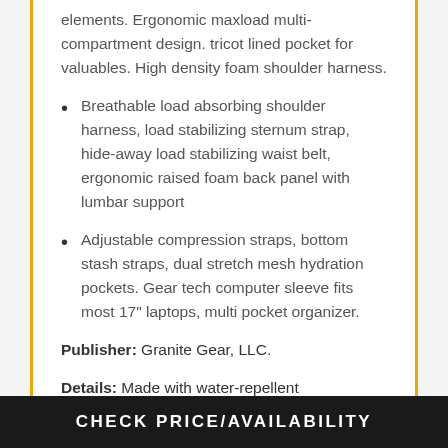elements. Ergonomic maxload multi-compartment design. tricot lined pocket for valuables. High density foam shoulder harness.
Breathable load absorbing shoulder harness, load stabilizing sternum strap, hide-away load stabilizing waist belt, ergonomic raised foam back panel with lumbar support
Adjustable compression straps, bottom stash straps, dual stretch mesh hydration pockets. Gear tech computer sleeve fits most 17" laptops, multi pocket organizer.
Publisher: Granite Gear, LLC.
Details: Made with water-repellent
CHECK PRICE/AVAILABILITY